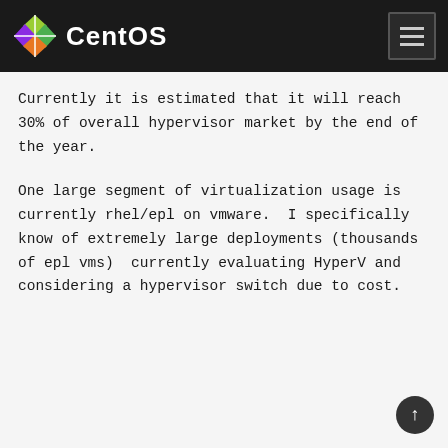CentOS
Currently it is estimated that it will reach 30% of overall hypervisor market by the end of the year.
One large segment of virtualization usage is currently rhel/epl on vmware.  I specifically know of extremely large deployments (thousands of epl vms)  currently evaluating HyperV and considering a hypervisor switch due to cost.